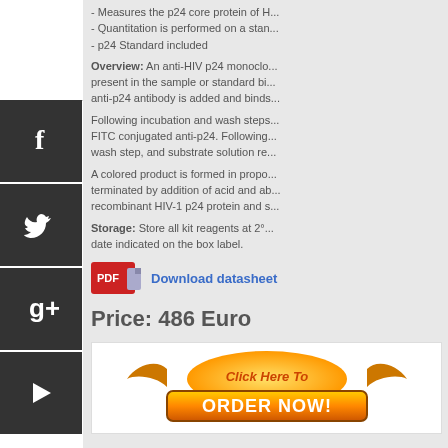- Measures the p24 core protein of H...
- Quantitation is performed on a stan...
- p24 Standard included
Overview: An anti-HIV p24 monoclonal antibody is coated... present in the sample or standard bi... anti-p24 antibody is added and binds...
Following incubation and wash steps... FITC conjugated anti-p24. Following... wash step, and substrate solution re...
A colored product is formed in propo... terminated by addition of acid and ab... recombinant HIV-1 p24 protein and s...
Storage: Store all kit reagents at 2°... date indicated on the box label.
[Figure (other): PDF download datasheet button with link text 'Download datasheet']
Price: 486 Euro
[Figure (other): Orange 'Click Here To ORDER NOW!' button graphic]